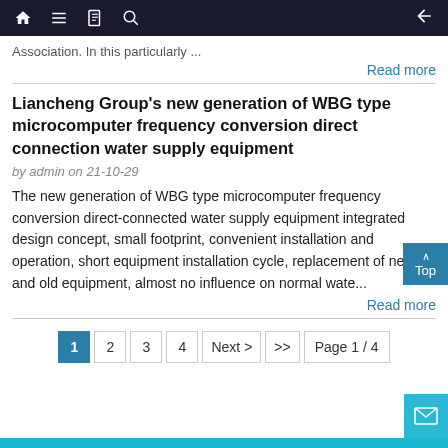nav bar with home, menu, book, search icons and back arrow
Association. In this particularly ...
Read more
Liancheng Group's new generation of WBG type microcomputer frequency conversion direct connection water supply equipment
by admin on 21-10-29
The new generation of WBG type microcomputer frequency conversion direct-connected water supply equipment integrated design concept, small footprint, convenient installation and operation, short equipment installation cycle, replacement of new and old equipment, almost no influence on normal wate...
Read more
1 2 3 4 Next > >>  Page 1 / 4